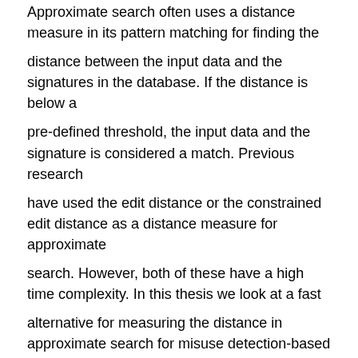Approximate search often uses a distance measure in its pattern matching for finding the
distance between the input data and the signatures in the database. If the distance is below a
pre-defined threshold, the input data and the signature is considered a match. Previous research
have used the edit distance or the constrained edit distance as a distance measure for approximate
search. However, both of these have a high time complexity. In this thesis we look at a fast
alternative for measuring the distance in approximate search for misuse detection-based intrusion
detection, called the q-gram distance. The q-gram distance is known to estimate the edit
distance well for some applications. We look at how the q-gram distance can be implemented
in intrusion detection as a distance measure in approximate search. We suggest a two-stage approximate
search method in which the q-gram distance can be applied to